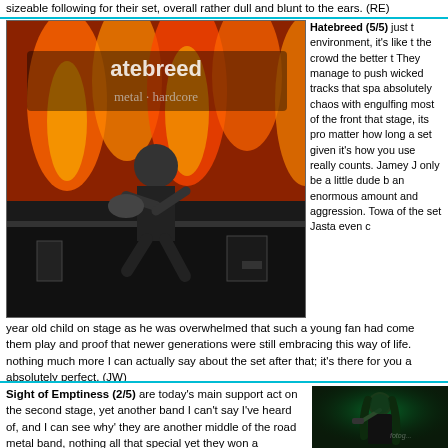sizeable following for their set, overall rather dull and blunt to the ears. (RE)
[Figure (photo): Hatebreed bassist performing on stage, jumping, with flame backdrop and Hatebreed banner]
Hatebreed (5/5) just the environment, it's like the crowd the better They manage to push wicked tracks that spa absolutely chaos with engulfing most of the front that stage, its pro matter how long a set given it's how you use really counts. Jamey J only be a little dude b an enormous amount and aggression. Towa of the set Jasta even year old child on stage as he was overwhelmed that such a young fan had come them play and proof that newer generations were still embracing this way of life. nothing much more I can actually say about the set after that; it's there for you a absolutely perfect. (JW)
Sight of Emptiness (2/5) are today's main support act on the second stage, yet another band I can't say I've heard of, and I can see why' they are another middle of the road metal band, nothing all that special yet they won a unsigned comp here a few years ago, not sure how as they aren't all that exciting not much in the way of decent memorable riffs or
[Figure (photo): Metal singer performing with green lighting, long hair, holding microphone]